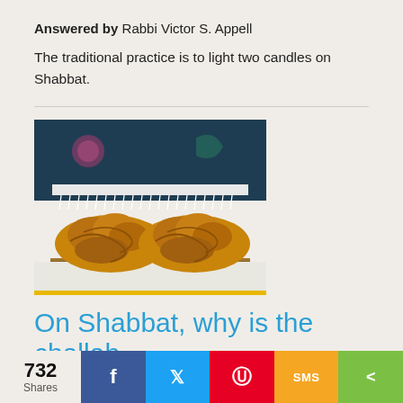Answered by Rabbi Victor S. Appell
The traditional practice is to light two candles on Shabbat.
[Figure (photo): Two braided challah loaves on a wooden board, partially covered by a dark blue embroidered Shabbat cloth with white fringe]
On Shabbat, why is the challah
732 Shares